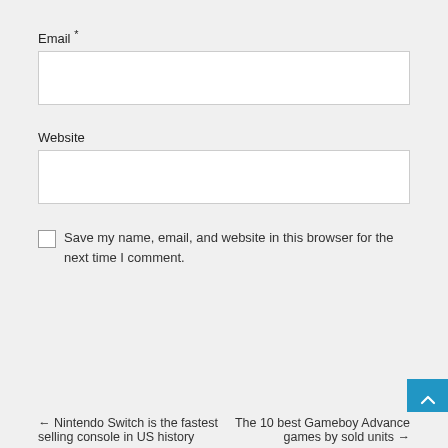Email *
Website
Save my name, email, and website in this browser for the next time I comment.
Post Comment
← Nintendo Switch is the fastest selling console in US history
The 10 best Gameboy Advance games by sold units →